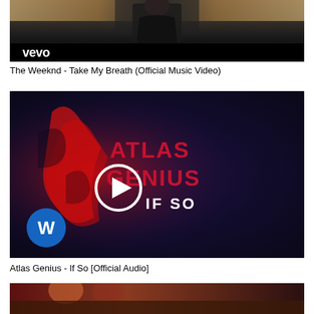[Figure (screenshot): Video thumbnail for The Weeknd - Take My Breath (Official Music Video) showing a dark scene with a person in black jacket and the Vevo logo]
The Weeknd - Take My Breath (Official Music Video)
[Figure (screenshot): Video thumbnail for Atlas Genius - If So [Official Audio] showing red and dark blue background with Atlas Genius If So text, Warner Music logo, and a play button]
Atlas Genius - If So [Official Audio]
[Figure (screenshot): Partial video thumbnail at the bottom, cut off]